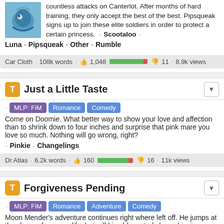countless attacks on Canterlot. After months of hard training, they only accept the best of the best. Pipsqueak signs up to join these elite soldiers in order to protect a certain princess. · Scootaloo · Luna · Pipsqueak · Other · Rumble
Car Cloth · 108k words · 👍 1,048 [bar] 👎 11 · 8.9k views
Just a Little Taste
MLP: FiM Romance Comedy  Come on Doomie. What better way to show your love and affection than to shrink down to four inches and surprise that pink mare you love so much. Nothing will go wrong, right? · Pinkie · Changelings
Dr Atlas · 6.2k words · 👍 160 [bar] 👎 16 · 11k views
Forgiveness Pending
MLP: FiM Romance Adventure Comedy  Moon Mender's adventure continues right where left off. He jumps at the chance for a new life, but will his old one truly leave him in peace? Some things are better off forgotten. · Sex · Gore · OC · Main 6 ·